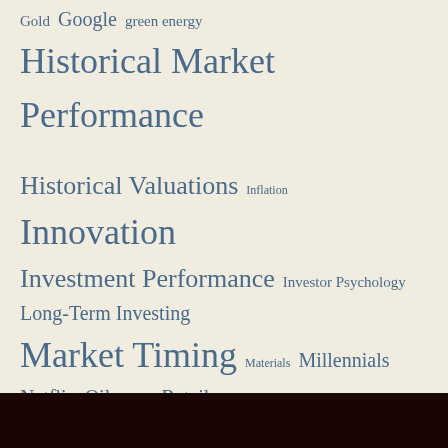Gold Google green energy Historical Market Performance Historical Valuations Inflation Innovation Investment Performance Investor Psychology Long-Term Investing Market Timing Materials Millennials Netflix Oil Results Retail Robotics Shopify Stocks technology Tesla US Wisdom
Most Popular Posts
Sorry. No data so far.